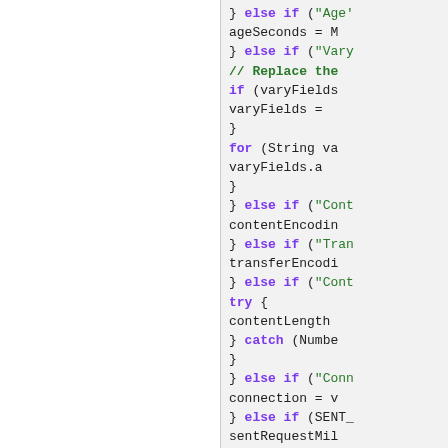[Figure (screenshot): Source code editor showing Java code snippet with syntax highlighting. Left panel is white/empty, right panel shows code with purple keywords, green strings and comments, and monospace plain text.]